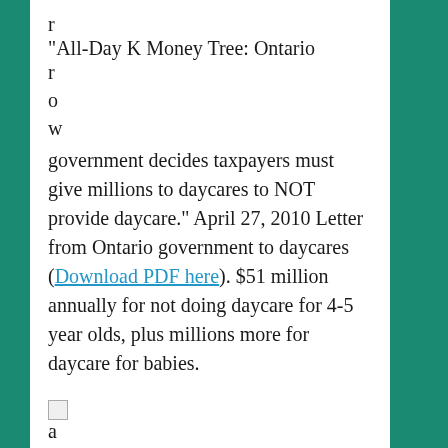r
“All-Day K Money Tree: Ontario
r
o
w
government decides taxpayers must give millions to daycares to NOT provide daycare.” April 27, 2010 Letter from Ontario government to daycares (Download PDF here). $51 million annually for not doing daycare for 4-5 year olds, plus millions more for daycare for babies.
[Figure (other): Small broken image icon followed by the letter 'a']